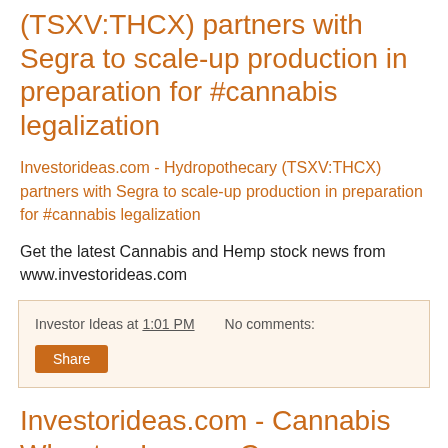(TSXV:THCX) partners with Segra to scale-up production in preparation for #cannabis legalization
Investorideas.com - Hydropothecary (TSXV:THCX) partners with Segra to scale-up production in preparation for #cannabis legalization
Get the latest Cannabis and Hemp stock news from www.investorideas.com
Investor Ideas at 1:01 PM   No comments:
Share
Investorideas.com - Cannabis Wheaton Income Corp. (TSX.V:CBW) Provides Update on the Initial